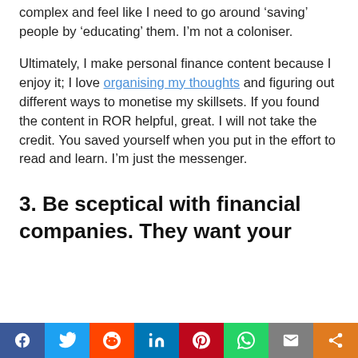complex and feel like I need to go around ‘saving’ people by ‘educating’ them. I’m not a coloniser.
Ultimately, I make personal finance content because I enjoy it; I love organising my thoughts and figuring out different ways to monetise my skillsets. If you found the content in ROR helpful, great. I will not take the credit. You saved yourself when you put in the effort to read and learn. I’m just the messenger.
3. Be sceptical with financial companies. They want your
Facebook Twitter Reddit LinkedIn Pinterest WhatsApp Email Share